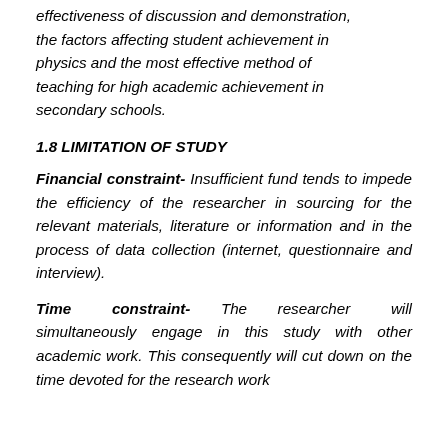effectiveness of discussion and demonstration, the factors affecting student achievement in physics and the most effective method of teaching for high academic achievement in secondary schools.
1.8 LIMITATION OF STUDY
Financial constraint- Insufficient fund tends to impede the efficiency of the researcher in sourcing for the relevant materials, literature or information and in the process of data collection (internet, questionnaire and interview).
Time constraint- The researcher will simultaneously engage in this study with other academic work. This consequently will cut down on the time devoted for the research work